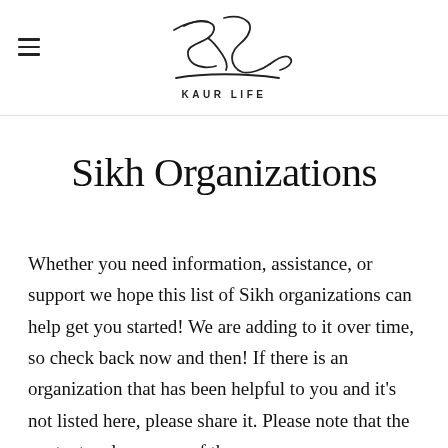KAUR LIFE
Sikh Organizations
Whether you need information, assistance, or support we hope this list of Sikh organizations can help get you started! We are adding to it over time, so check back now and then! If there is an organization that has been helpful to you and it's not listed here, please share it. Please note that the content and message of the